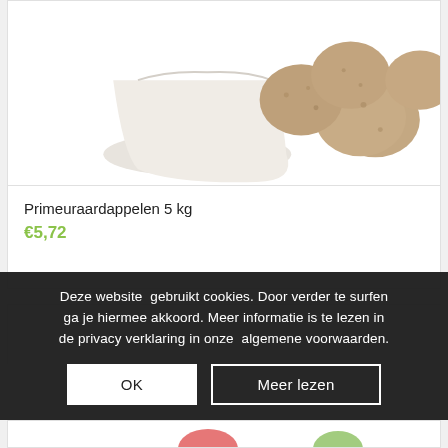[Figure (photo): Photo of potatoes (primeur aardappelen) on a white background with a white cloth bag]
Primeuraardappelen 5 kg
€5,72
[Figure (photo): Partially visible product image, obscured by cookie banner]
Deze website gebruikt cookies. Door verder te surfen ga je hiermee akkoord. Meer informatie is te lezen in de privacy verklaring in onze algemene voorwaarden.
OK
Meer lezen
[Figure (photo): Partially visible product image at bottom of page]